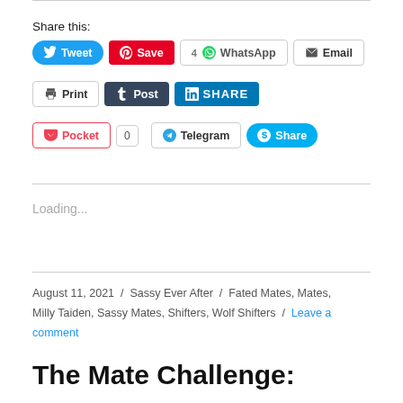Share this:
[Figure (screenshot): Social sharing buttons: Tweet, Save (Pinterest), 4 WhatsApp, Email, Print, Post (Tumblr), SHARE (LinkedIn), Pocket with count 0, Telegram, Share (Skype)]
Loading...
August 11, 2021 / Sassy Ever After / Fated Mates, Mates, Milly Taiden, Sassy Mates, Shifters, Wolf Shifters / Leave a comment
The Mate Challenge: